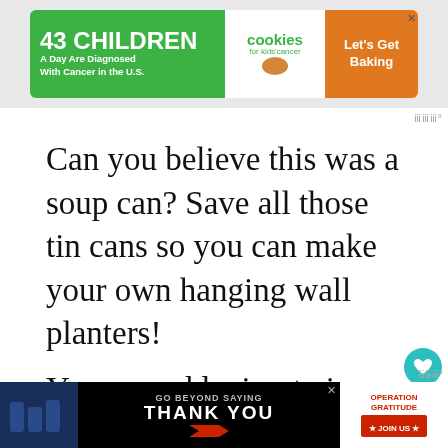[Figure (screenshot): Advertisement banner: '43 CHILDREN A Day Are Diagnosed With Cancer in the U.S.' with cookies for kids' cancer logo and 'Let's Get Baking' call to action on orange background]
Can you believe this was a soup can? Save all those tin cans so you can make your own hanging wall planters!
You can add wire, twine, or ribbon for hanging, or display them standing on a shelf. The smaller tin cans are the size for tiered trays
[Figure (screenshot): What's Next panel: thumbnail image with crosshair icon and text 'Welcome Spring with...']
[Figure (screenshot): Bottom advertisement banner: 'GO BEYOND SAYING THANK YOU' with Operation Gratitude logo and 'JOIN US' button]